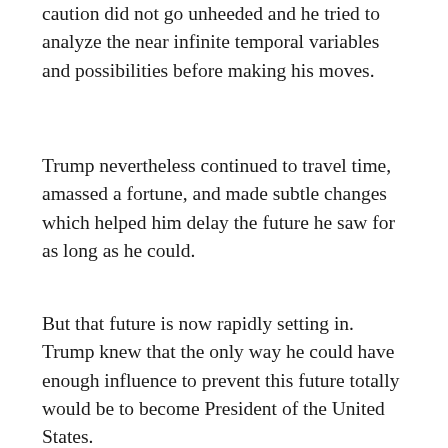caution did not go unheeded and he tried to analyze the near infinite temporal variables and possibilities before making his moves.
Trump nevertheless continued to travel time, amassed a fortune, and made subtle changes which helped him delay the future he saw for as long as he could.
But that future is now rapidly setting in. Trump knew that the only way he could have enough influence to prevent this future totally would be to become President of the United States.